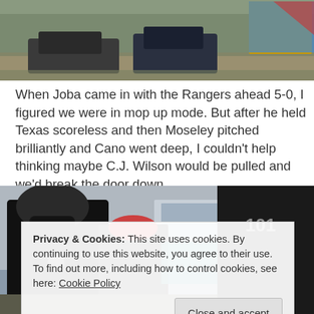[Figure (photo): Top portion of a photo showing vehicles and trucks parked on a dirt/gravel area, with a colorful structure or vehicle visible in the upper right corner.]
When Joba came in with the Rangers ahead 5-0, I figured we were in mop up mode. But after he held Texas scoreless and then Moseley pitched brilliantly and Cano went deep, I couldn't help thinking maybe C.J. Wilson would be pulled and we'd break the door down.
[Figure (photo): Photo of law enforcement officers in tactical gear including helmets and dark uniforms standing near a building entrance with the number 101 visible. A cookie consent banner overlays the lower portion of the image.]